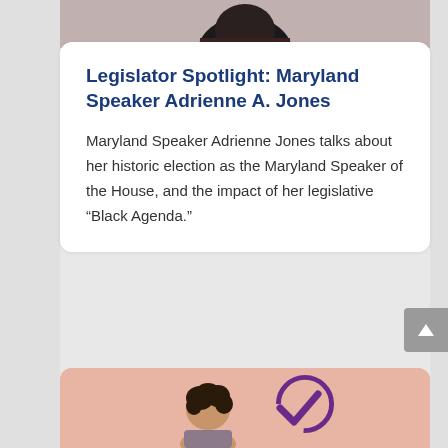[Figure (photo): Partial view of a person's head/shoulders at top of page, black and white or dark toned photo]
Legislator Spotlight: Maryland Speaker Adrienne A. Jones
Maryland Speaker Adrienne Jones talks about her historic election as the Maryland Speaker of the House, and the impact of her legislative “Black Agenda.”
[Figure (photo): Bottom pink card showing a person with curly hair and a purple checkmark graphic]